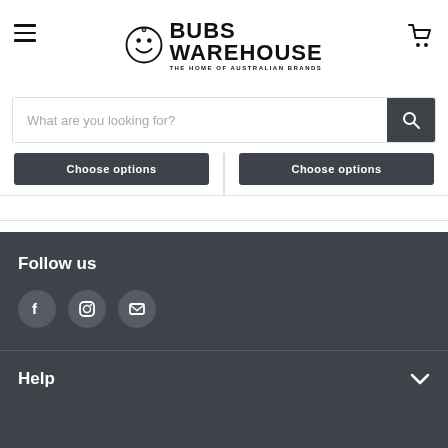[Figure (logo): Bubs Warehouse logo with smiley face in circle and tagline 'THE HOME OF AUSTRALIAN BRANDS']
[Figure (screenshot): Search bar with placeholder 'What are you looking for?' and dark search button with magnifying glass icon]
[Figure (screenshot): Two 'Choose options' buttons partially visible at bottom of product cards]
Follow us
[Figure (screenshot): Social media icons: Facebook, Instagram, Email]
Help